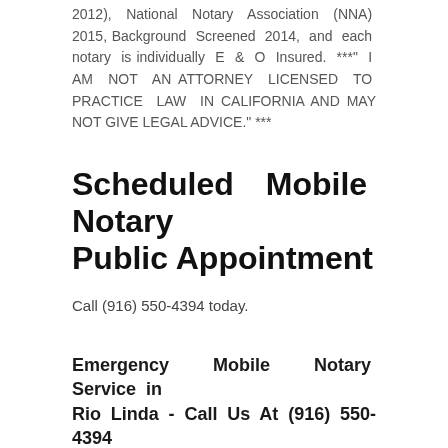2012), National Notary Association (NNA) 2015, Background Screened 2014, and each notary is individually E & O Insured. ***" I AM NOT AN ATTORNEY LICENSED TO PRACTICE LAW IN CALIFORNIA AND MAY NOT GIVE LEGAL ADVICE." ***
Scheduled Mobile Notary Public Appointment
Call (916) 550-4394 today.
Emergency Mobile Notary Service in Rio Linda - Call Us At (916) 550-4394